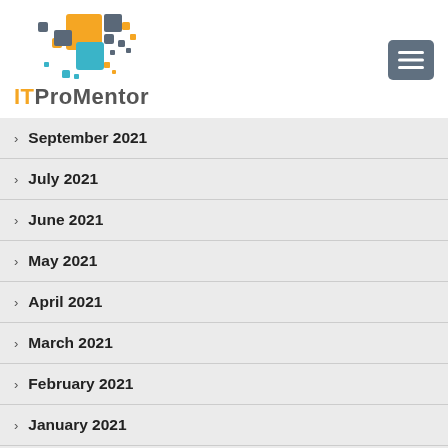[Figure (logo): ITProMentor logo with colorful pixel squares and orange/grey/teal colors]
September 2021
July 2021
June 2021
May 2021
April 2021
March 2021
February 2021
January 2021
December 2020